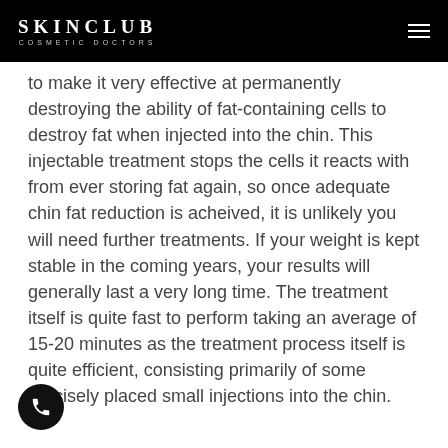SKINCLUB COSMETIC DOCTORS
to make it very effective at permanently destroying the ability of fat-containing cells to destroy fat when injected into the chin. This injectable treatment stops the cells it reacts with from ever storing fat again, so once adequate chin fat reduction is acheived, it is unlikely you will need further treatments. If your weight is kept stable in the coming years, your results will generally last a very long time. The treatment itself is quite fast to perform taking an average of 15-20 minutes as the treatment process itself is quite efficient, consisting primarily of some precisely placed small injections into the chin.